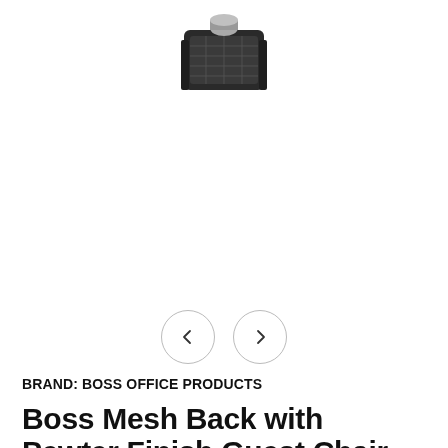[Figure (photo): Partial product photo of a chair back with mesh and pewter/dark finish, shown at top of page, cropped at bottom]
[Figure (other): Navigation carousel buttons: left arrow circle and right arrow circle]
BRAND: BOSS OFFICE PRODUCTS
Boss Mesh Back with Pewter Finish Guest Chair [B6419-PE]